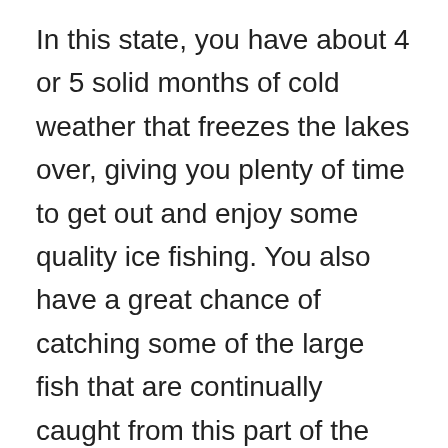In this state, you have about 4 or 5 solid months of cold weather that freezes the lakes over, giving you plenty of time to get out and enjoy some quality ice fishing. You also have a great chance of catching some of the large fish that are continually caught from this part of the country.
If winter fishing is something you love or maybe something you have always wanted to try, Michigan is the place to be. From popular tourist spots to secret